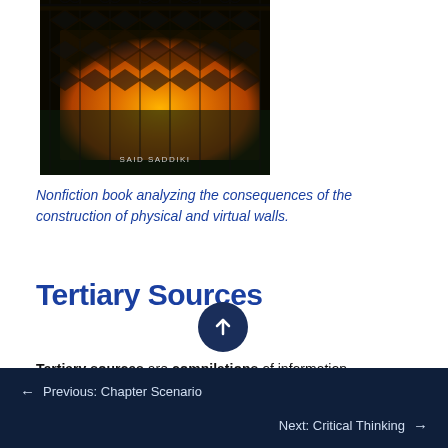[Figure (photo): Book cover showing a chain-link fence silhouette against an orange/yellow fiery background. Author name 'Said Saddiki' is visible at the bottom of the cover.]
Nonfiction book analyzing the consequences of the construction of physical and virtual walls.
Tertiary Sources
Tertiary sources are compilations of information
← Previous: Chapter Scenario    Next: Critical Thinking →